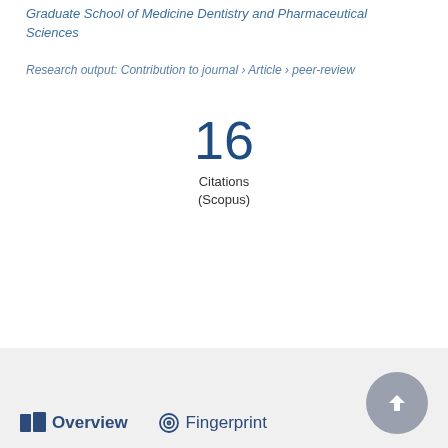Graduate School of Medicine Dentistry and Pharmaceutical Sciences
Research output: Contribution to journal › Article › peer-review
16
Citations
(Scopus)
Overview   Fingerprint